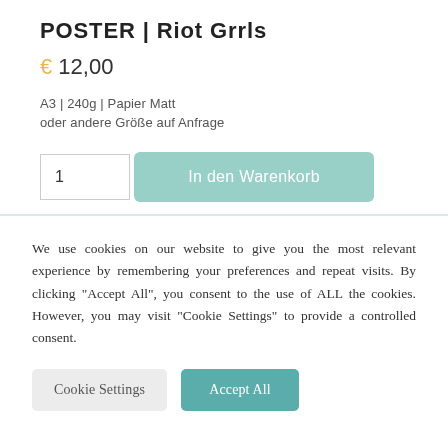POSTER | Riot Grrls
€ 12,00
A3 | 240g | Papier Matt
oder andere Größe auf Anfrage
1
In den Warenkorb
We use cookies on our website to give you the most relevant experience by remembering your preferences and repeat visits. By clicking "Accept All", you consent to the use of ALL the cookies. However, you may visit "Cookie Settings" to provide a controlled consent.
Cookie Settings
Accept All